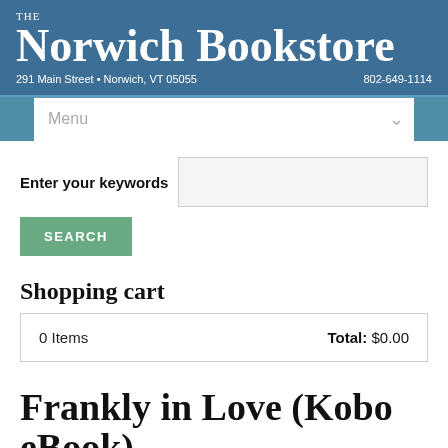THE Norwich Bookstore
291 Main Street • Norwich, VT 05055 | 802-649-1114
Menu
Enter your keywords
SEARCH
Shopping cart
| Items | Total |
| --- | --- |
| 0 Items | Total: $0.00 |
Frankly in Love (Kobo eBook)